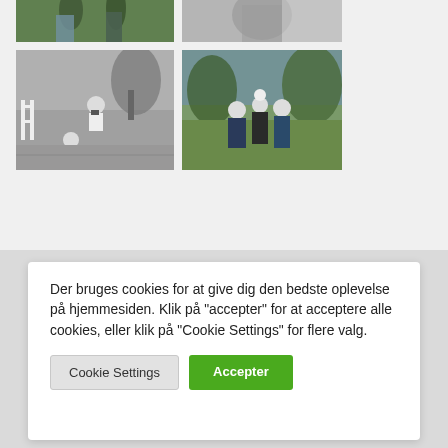[Figure (photo): Top-left photo: two people standing outdoors on grass]
[Figure (photo): Top-right photo: person outdoors, black and white]
[Figure (photo): Bottom-left photo: black and white photo of person crouching with camera and child on ground, outdoor setting]
[Figure (photo): Bottom-right photo: group of people outdoors in a park, color photo]
Der bruges cookies for at give dig den bedste oplevelse på hjemmesiden. Klik på "accepter" for at acceptere alle cookies, eller klik på "Cookie Settings" for flere valg.
Cookie Settings
Accepter